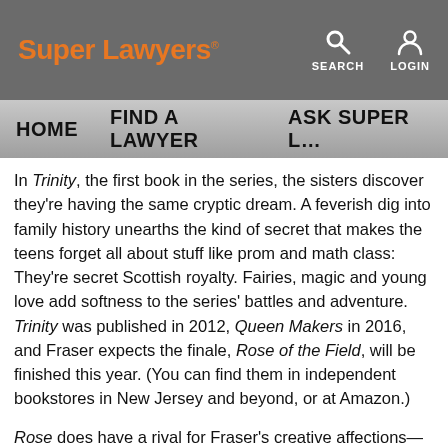Super Lawyers | SEARCH | LOGIN
HOME | FIND A LAWYER | ASK SUPER L...
In Trinity, the first book in the series, the sisters discover they're having the same cryptic dream. A feverish dig into family history unearths the kind of secret that makes the teens forget all about stuff like prom and math class: They're secret Scottish royalty. Fairies, magic and young love add softness to the series' battles and adventure. Trinity was published in 2012, Queen Makers in 2016, and Fraser expects the finale, Rose of the Field, will be finished this year. (You can find them in independent bookstores in New Jersey and beyond, or at Amazon.)
Rose does have a rival for Fraser's creative affections—during quarantine, when her daughter's dance studio was on the chopping block due pandemic challenges, Fraser bought